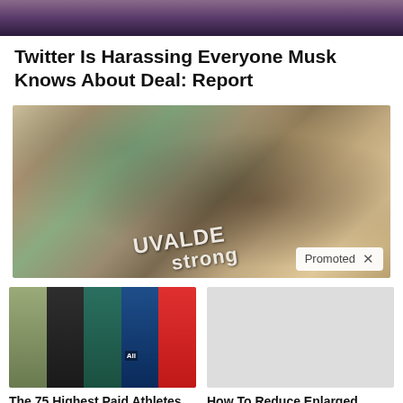[Figure (photo): Top portion of a photo showing a person, partially cropped]
Twitter Is Harassing Everyone Musk Knows About Deal: Report
[Figure (photo): Photo of a Uvalde memorial with candles, stuffed animals, flowers, and a 'Uvalde Strong' sign. Has a 'Promoted X' badge.]
[Figure (photo): Collage of 5 athletes including a golfer, MMA fighter, tennis player, soccer player, and football player]
The 75 Highest Paid Athletes Of 2022 — See How Much They Made
🔥 917
How To Reduce Enlarged Prostates Without Surgery Do This Daily
🔥 814